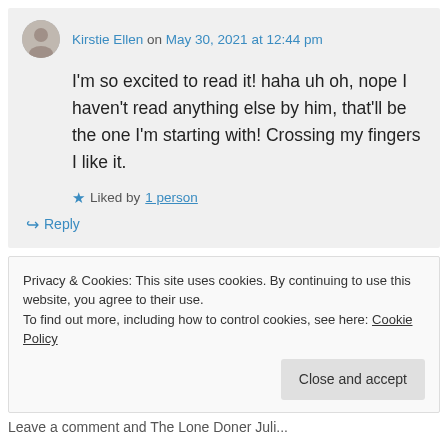Kirstie Ellen on May 30, 2021 at 12:44 pm
I'm so excited to read it! haha uh oh, nope I haven't read anything else by him, that'll be the one I'm starting with! Crossing my fingers I like it.
Liked by 1 person
Reply
Privacy & Cookies: This site uses cookies. By continuing to use this website, you agree to their use.
To find out more, including how to control cookies, see here: Cookie Policy
Close and accept
Leave a comment and The Lone Doner Joli...